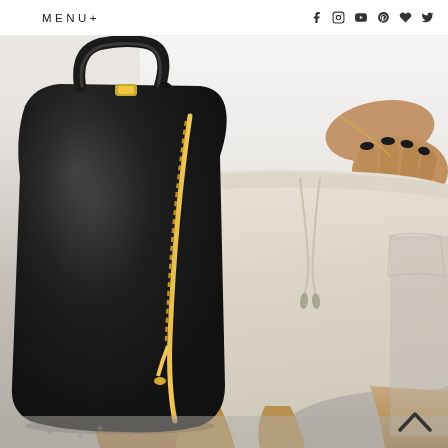MENU+
[Figure (photo): Fashion lifestyle photo showing a person wearing white shorts and a white top, holding a large black leather handbag with gold zipper detail. The hand has dark/black nail polish. The photo is cropped close showing the torso and bag area.]